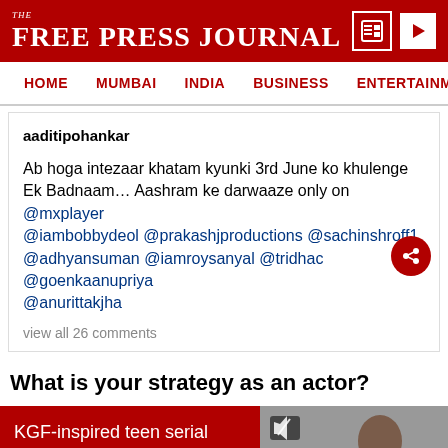THE FREE PRESS JOURNAL
HOME   MUMBAI   INDIA   BUSINESS   ENTERTAINMENT   SPO
aaditipohankar

Ab hoga intezaar khatam kyunki 3rd June ko khulenge Ek Badnaam… Aashram ke darwaaze only on @mxplayer @iambobbydeol @prakashjproductions @sachinshroff1 @adhyansuman @iamroysanyal @tridhac @goenkaanupriya @anurittakjha

view all 26 comments
What is your strategy as an actor?
KGF-inspired teen serial killer arrested; Had killed 4 security guards in MP; Had spread...
KGF-inspired teen serial killer arrested; Had killed 4 security guards in MP;...